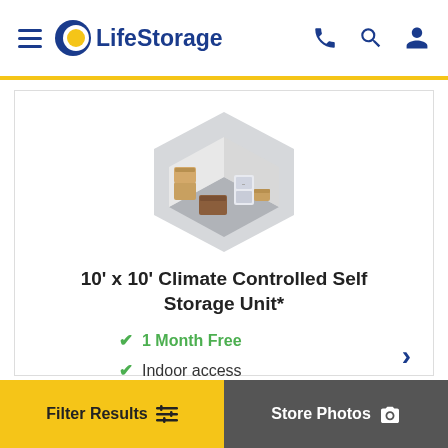LifeStorage
[Figure (illustration): Isometric hexagon illustration of a climate-controlled storage unit interior with boxes, appliances, and shelves]
10' x 10' Climate Controlled Self Storage Unit*
1 Month Free
Indoor access
Upper Level
Filter Results | Store Photos